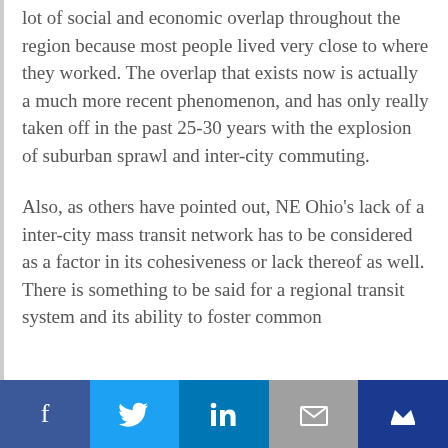lot of social and economic overlap throughout the region because most people lived very close to where they worked. The overlap that exists now is actually a much more recent phenomenon, and has only really taken off in the past 25-30 years with the explosion of suburban sprawl and inter-city commuting.
Also, as others have pointed out, NE Ohio's lack of a inter-city mass transit network has to be considered as a factor in its cohesiveness or lack thereof as well. There is something to be said for a regional transit system and its ability to foster common
Social sharing bar: Facebook, Twitter, LinkedIn, Email, Crown